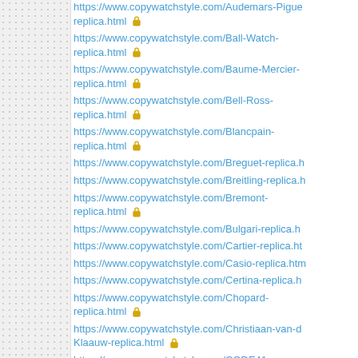https://www.copywatchstyle.com/Audemars-Piguet-replica.html 🔒
https://www.copywatchstyle.com/Ball-Watch-replica.html 🔒
https://www.copywatchstyle.com/Baume-Mercier-replica.html 🔒
https://www.copywatchstyle.com/Bell-Ross-replica.html 🔒
https://www.copywatchstyle.com/Blancpain-replica.html 🔒
https://www.copywatchstyle.com/Breguet-replica.html
https://www.copywatchstyle.com/Breitling-replica.html
https://www.copywatchstyle.com/Bremont-replica.html 🔒
https://www.copywatchstyle.com/Bulgari-replica.html
https://www.copywatchstyle.com/Cartier-replica.html
https://www.copywatchstyle.com/Casio-replica.html
https://www.copywatchstyle.com/Certina-replica.html
https://www.copywatchstyle.com/Chopard-replica.html 🔒
https://www.copywatchstyle.com/Christiaan-van-der-Klaauw-replica.html 🔒
https://www.copywatchstyle.com/CODE41-replica.html 🔒
https://www.copywatchstyle.com/Corum-replica.html